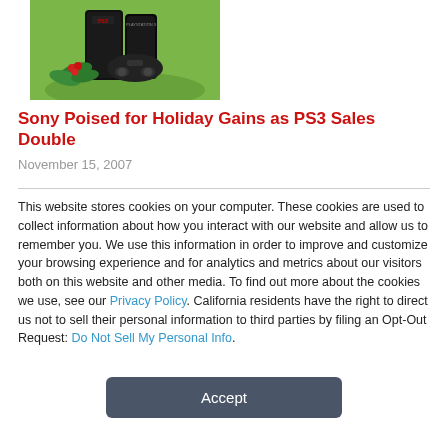[Figure (photo): PlayStation 3 console with holiday decoration (holly leaves and berries) and a PS3 controller on a green reflective surface]
Sony Poised for Holiday Gains as PS3 Sales Double
November 15, 2007
This website stores cookies on your computer. These cookies are used to collect information about how you interact with our website and allow us to remember you. We use this information in order to improve and customize your browsing experience and for analytics and metrics about our visitors both on this website and other media. To find out more about the cookies we use, see our Privacy Policy. California residents have the right to direct us not to sell their personal information to third parties by filing an Opt-Out Request: Do Not Sell My Personal Info.